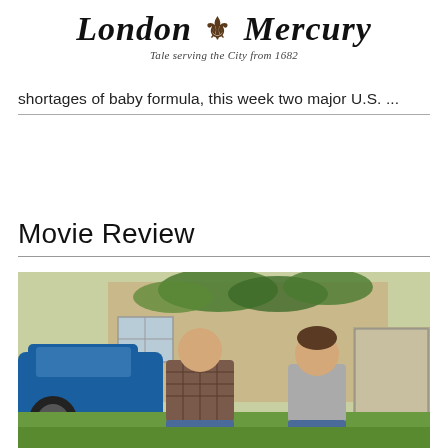London Mercury — Tale serving the City from 1682
shortages of baby formula, this week two major U.S. ...
Movie Review
[Figure (photo): Two people — an older bald man in a plaid flannel shirt and a younger man in a grey shirt — sitting cross-legged on the ground in front of a house with ivy, next to a classic blue muscle car. They appear to be working with something in their hands on the lawn.]